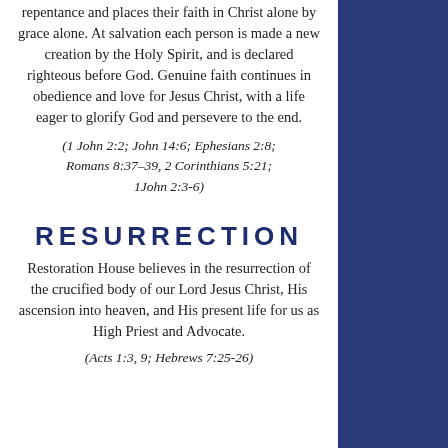repentance and places their faith in Christ alone by grace alone. At salvation each person is made a new creation by the Holy Spirit, and is declared righteous before God. Genuine faith continues in obedience and love for Jesus Christ, with a life eager to glorify God and persevere to the end.
(1 John 2:2; John 14:6; Ephesians 2:8; Romans 8:37–39, 2 Corinthians 5:21; 1John 2:3-6)
RESURRECTION
Restoration House believes in the resurrection of the crucified body of our Lord Jesus Christ, His ascension into heaven, and His present life for us as High Priest and Advocate.
(Acts 1:3, 9; Hebrews 7:25-26)
[Figure (photo): Dark panel on the right with a blurred photo at the top blending into a dark navy blue background.]